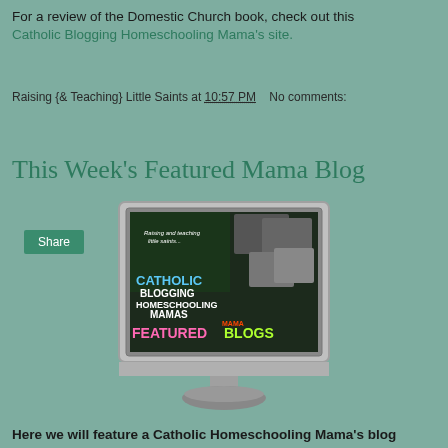For a review of the Domestic Church book, check out this Catholic Blogging Homeschooling Mama's site.
Raising {& Teaching} Little Saints at 10:57 PM    No comments:
Share
This Week's Featured Mama Blog
[Figure (photo): A computer monitor displaying the Catholic Blogging Homeschooling Mamas Featured Blogs promotional image with photos and colorful text]
Here we will feature a Catholic Homeschooling Mama's blog